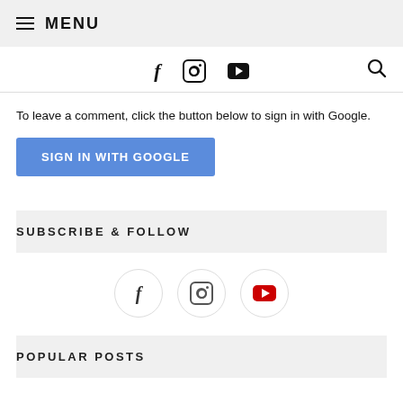≡ MENU
[Figure (infographic): Top social icons bar with Facebook, Instagram, YouTube icons and search icon]
To leave a comment, click the button below to sign in with Google.
SIGN IN WITH GOOGLE
SUBSCRIBE & FOLLOW
[Figure (infographic): Three circular social media icons: Facebook, Instagram, YouTube]
POPULAR POSTS